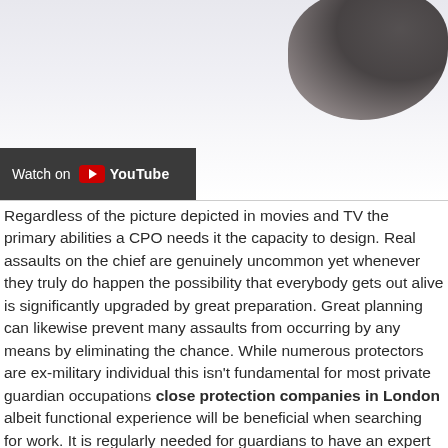[Figure (photo): Partial view of a person (dark skin, blurred) in upper right corner against a light background, with a YouTube 'Watch on YouTube' button overlay in dark gray bar on the left side.]
Regardless of the picture depicted in movies and TV the primary abilities a CPO needs it the capacity to design. Real assaults on the chief are genuinely uncommon yet whenever they truly do happen the possibility that everybody gets out alive is significantly upgraded by great preparation. Great planning can likewise prevent many assaults from occurring by any means by eliminating the chance. While numerous protectors are ex-military individual this isn't fundamental for most private guardian occupations close protection companies in London albeit functional experience will be beneficial when searching for work. It is regularly needed for guardians to have an expert capability in the UK they are needed to